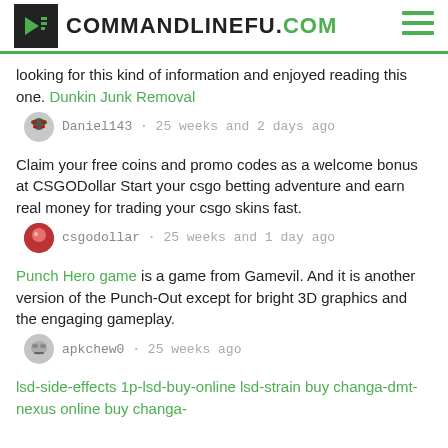COMMANDLINEFU.COM
looking for this kind of information and enjoyed reading this one. Dunkin Junk Removal
Daniel143 · 25 weeks and 2 days ago
Claim your free coins and promo codes as a welcome bonus at CSGODollar Start your csgo betting adventure and earn real money for trading your csgo skins fast.
csgodollar · 25 weeks and 1 day ago
Punch Hero game is a game from Gamevil. And it is another version of the Punch-Out except for bright 3D graphics and the engaging gameplay.
apkchew0 · 25 weeks ago
lsd-side-effects 1p-lsd-buy-online lsd-strain buy changa-dmt-nexus online buy changa-